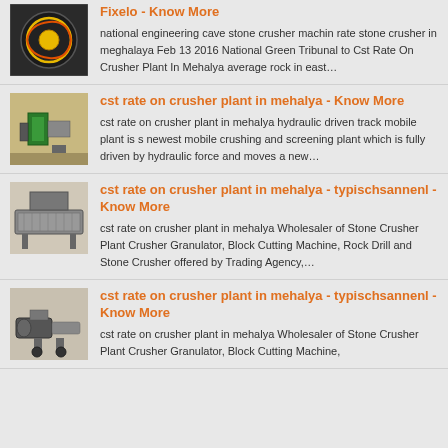[Figure (photo): Industrial motor or crusher machine component with yellow and black markings]
Fixelo - Know More
national engineering cave stone crusher machin rate stone crusher in meghalaya Feb 13 2016 National Green Tribunal to Cst Rate On Crusher Plant In Mehalya average rock in east…
[Figure (photo): Green industrial crusher or jaw crusher machine in a factory setting]
cst rate on crusher plant in mehalya - Know More
cst rate on crusher plant in mehalya hydraulic driven track mobile plant is s newest mobile crushing and screening plant which is fully driven by hydraulic force and moves a new…
[Figure (photo): Industrial screening or vibrating machine in a factory]
cst rate on crusher plant in mehalya - typischsannenl - Know More
cst rate on crusher plant in mehalya Wholesaler of Stone Crusher Plant Crusher Granulator, Block Cutting Machine, Rock Drill and Stone Crusher offered by Trading Agency,…
[Figure (photo): Industrial pump or motor machinery components]
cst rate on crusher plant in mehalya - typischsannenl - Know More
cst rate on crusher plant in mehalya Wholesaler of Stone Crusher Plant Crusher Granulator, Block Cutting Machine,